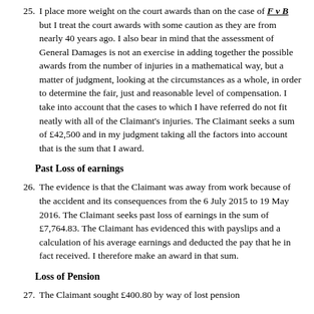25. I place more weight on the court awards than on the case of F v B but I treat the court awards with some caution as they are from nearly 40 years ago. I also bear in mind that the assessment of General Damages is not an exercise in adding together the possible awards from the number of injuries in a mathematical way, but a matter of judgment, looking at the circumstances as a whole, in order to determine the fair, just and reasonable level of compensation. I take into account that the cases to which I have referred do not fit neatly with all of the Claimant's injuries. The Claimant seeks a sum of £42,500 and in my judgment taking all the factors into account that is the sum that I award.
Past Loss of earnings
26. The evidence is that the Claimant was away from work because of the accident and its consequences from the 6 July 2015 to 19 May 2016. The Claimant seeks past loss of earnings in the sum of £7,764.83. The Claimant has evidenced this with payslips and a calculation of his average earnings and deducted the pay that he in fact received. I therefore make an award in that sum.
Loss of Pension
27. The Claimant sought £400.80 by way of lost pension